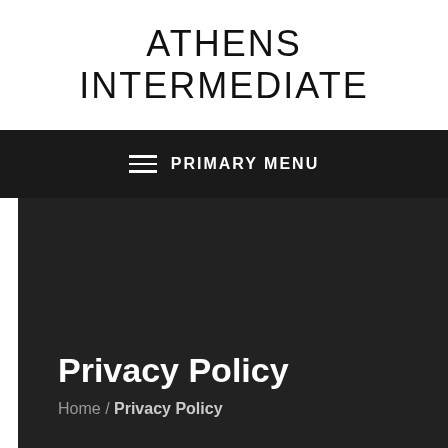ATHENS INTERMEDIATE
PRIMARY MENU
Privacy Policy
Home / Privacy Policy